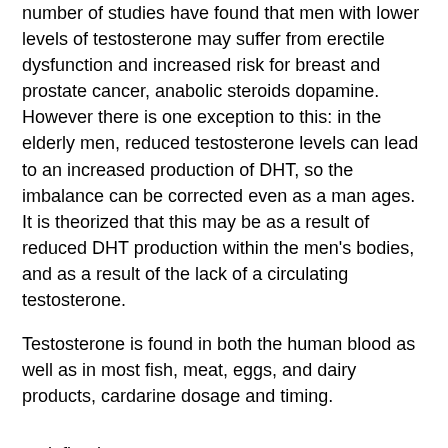number of studies have found that men with lower levels of testosterone may suffer from erectile dysfunction and increased risk for breast and prostate cancer, anabolic steroids dopamine. However there is one exception to this: in the elderly men, reduced testosterone levels can lead to an increased production of DHT, so the imbalance can be corrected even as a man ages. It is theorized that this may be as a result of reduced DHT production within the men's bodies, and as a result of the lack of a circulating testosterone.
Testosterone is found in both the human blood as well as in most fish, meat, eggs, and dairy products, cardarine dosage and timing.
undefined